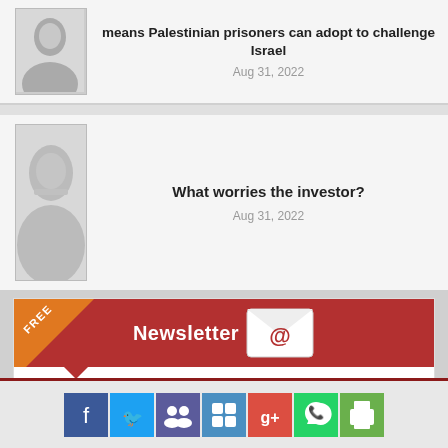[Figure (photo): Article card with portrait photo - means Palestinian prisoners can adopt to challenge Israel, Aug 31, 2022]
means Palestinian prisoners can adopt to challenge Israel
Aug 31, 2022
[Figure (photo): Article card with portrait photo - What worries the investor?, Aug 31, 2022]
What worries the investor?
Aug 31, 2022
[Figure (infographic): Newsletter signup section with FREE badge, red banner, Newsletter title with email icon, subscription description, email input and SUBSCRIBE button]
Get top stories and blog posts emailed to you each day.
[Figure (infographic): Social media icon bar with Facebook, Twitter, group icon, share icon, Google+, WhatsApp, and print/other icon]